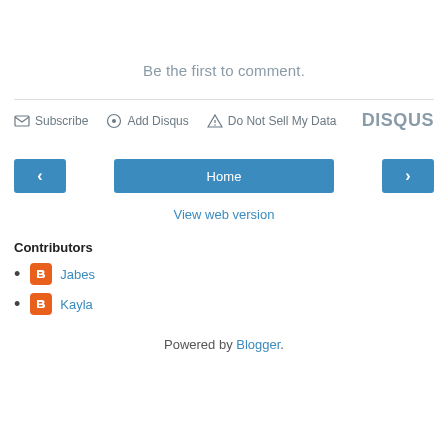Be the first to comment.
Subscribe  Add Disqus  Do Not Sell My Data  DISQUS
< Home >
View web version
Contributors
Jabes
Kayla
Powered by Blogger.